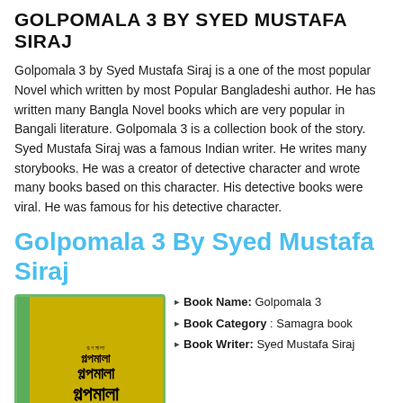GOLPOMALA 3 BY SYED MUSTAFA SIRAJ
Golpomala 3 by Syed Mustafa Siraj is a one of the most popular Novel which written by most Popular Bangladeshi author. He has written many Bangla Novel books which are very popular in Bangali literature. Golpomala 3 is a collection book of the story. Syed Mustafa Siraj was a famous Indian writer. He writes many storybooks. He was a creator of detective character and wrote many books based on this character. His detective books were viral. He was famous for his detective character.
Golpomala 3 By Syed Mustafa Siraj
[Figure (photo): Book cover of Golpomala 3, yellow/gold background with Bengali script text in increasing font sizes]
Book Name: Golpomala 3
Book Category: Samagra book
Book Writer: Syed Mustafa Siraj